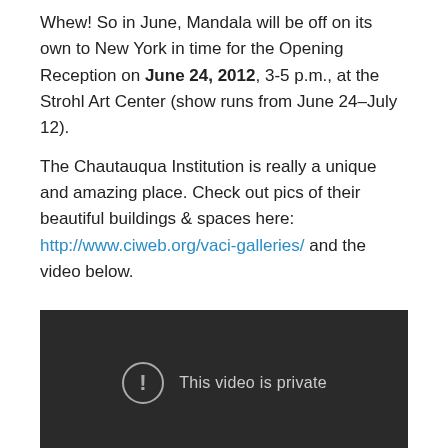Whew! So in June, Mandala will be off on its own to New York in time for the Opening Reception on June 24, 2012, 3-5 p.m., at the Strohl Art Center (show runs from June 24–July 12).
The Chautauqua Institution is really a unique and amazing place. Check out pics of their beautiful buildings & spaces here: http://www.ciweb.org/vaci-galleries/ and the video below.
[Figure (screenshot): Dark video player showing 'This video is private' message with an exclamation mark icon in a circle.]